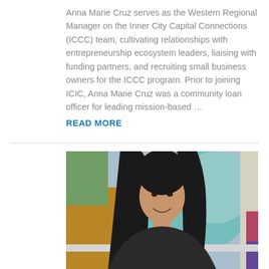Anna Marie Cruz serves as the Western Regional Manager on the Inner City Capital Connections (ICCC) team, cultivating relationships with entrepreneurship ecosystem leaders, liaising with funding partners, and recruiting small business owners for the ICCC program. Prior to joining ICIC, Anna Marie Cruz was a community loan officer for leading mission-based ... READ MORE
[Figure (photo): Professional headshot of Anna Marie Cruz, a woman with long dark hair, smiling, wearing a black top, with a colorful abstract painting in the background.]